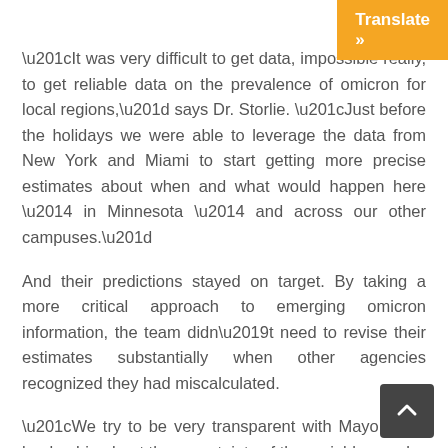“It was very difficult to get data, impossible really, to get reliable data on the prevalence of omicron for local regions,” says Dr. Storlie. “Just before the holidays we were able to leverage the data from New York and Miami to start getting more precise estimates about when and what would happen here — in Minnesota — and across our other campuses.”
And their predictions stayed on target. By taking a more critical approach to emerging omicron information, the team didn’t need to revise their estimates substantially when other agencies recognized they had miscalculated.
“We try to be very transparent with Mayo Clinic leadership about the uncertainty of the variables, and